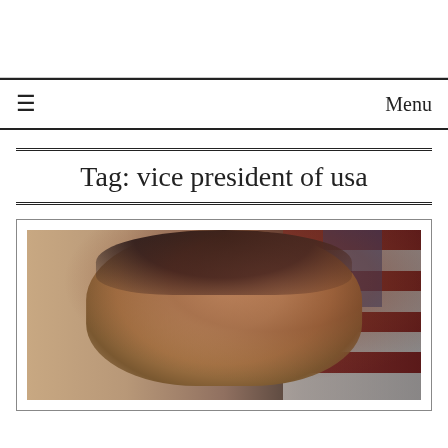≡  Menu
Tag: vice president of usa
[Figure (photo): Portrait photograph of a man in formal attire with dark hair, with an American flag visible in the background]